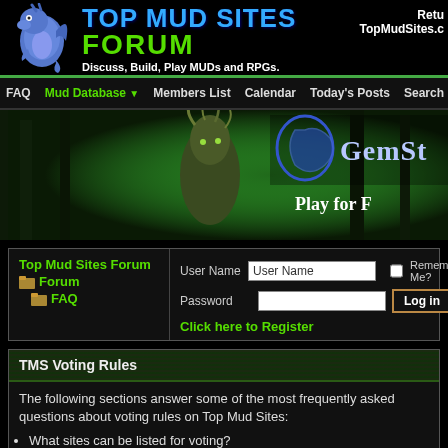[Figure (logo): Top Mud Sites Forum logo with dragon mascot, blue stylized text 'TOP MUD SITES' and green 'FORUM', tagline 'Discuss, Build, Play MUDs and RPGs.']
Retu... TopMudSites.c...
FAQ  Mud Database  Members List  Calendar  Today's Posts  Search  Reg...
[Figure (illustration): GemStone banner advertisement showing a fantasy forest creature and the text 'GemSt...' and 'Play for F...']
| Top Mud Sites Forum | FAQ | User Name | [User Name field] | Remember Me? | Password | [Password field] | Log in | Click here to Register |
TMS Voting Rules
The following sections answer some of the most frequently asked questions about voting rules on Top Mud Sites:
What sites can be listed for voting?
Do I have to put a voting button or link on my web